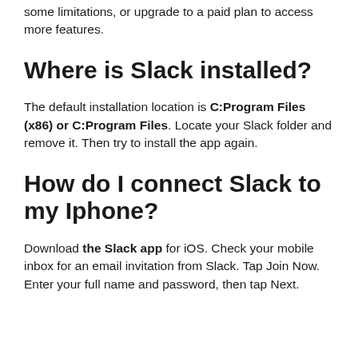some limitations, or upgrade to a paid plan to access more features.
Where is Slack installed?
The default installation location is C:Program Files (x86) or C:Program Files. Locate your Slack folder and remove it. Then try to install the app again.
How do I connect Slack to my Iphone?
Download the Slack app for iOS. Check your mobile inbox for an email invitation from Slack. Tap Join Now. Enter your full name and password, then tap Next.